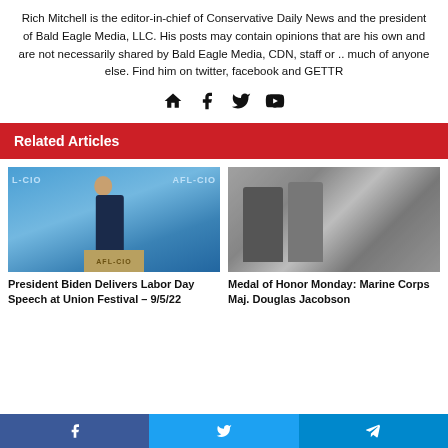Rich Mitchell is the editor-in-chief of Conservative Daily News and the president of Bald Eagle Media, LLC. His posts may contain opinions that are his own and are not necessarily shared by Bald Eagle Media, CDN, staff or .. much of anyone else. Find him on twitter, facebook and GETTR
[Figure (other): Social media icons: home, facebook, twitter, youtube]
Related Articles
[Figure (photo): President Biden speaking at an AFL-CIO podium with blue backdrop]
President Biden Delivers Labor Day Speech at Union Festival – 9/5/22
[Figure (photo): Black and white photo of military figures, Medal of Honor ceremony]
Medal of Honor Monday: Marine Corps Maj. Douglas Jacobson
[Figure (other): Share bar with Facebook, Twitter, and Telegram buttons]